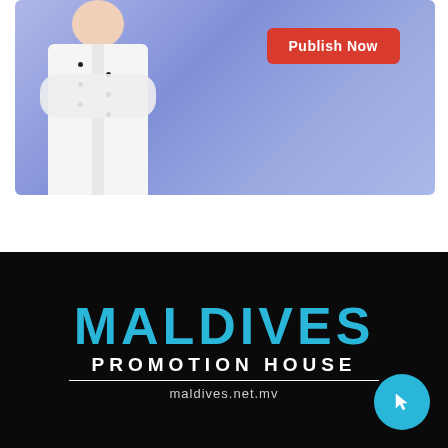[Figure (screenshot): Banner advertisement showing a chef in white jacket with arms crossed against a blue/purple gradient background, with a red 'Publish Now' button in the upper right.]
[Figure (logo): Maldives Promotion House logo — large cyan 'MALDIVES' text, white 'PROMOTION HOUSE' subtitle, horizontal rule, and 'maldives.net.mv' URL, all on black background. Blue circular cursor/hand icon at bottom right.]